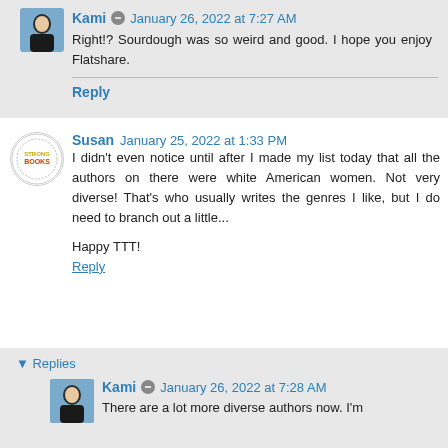Kami · January 26, 2022 at 7:27 AM
Right!? Sourdough was so weird and good. I hope you enjoy Flatshare.
Reply
Susan · January 25, 2022 at 1:33 PM
I didn't even notice until after I made my list today that all the authors on there were white American women. Not very diverse! That's who usually writes the genres I like, but I do need to branch out a little...
Happy TTT!
Reply
▼ Replies
Kami · January 26, 2022 at 7:28 AM
There are a lot more diverse authors now. I'm